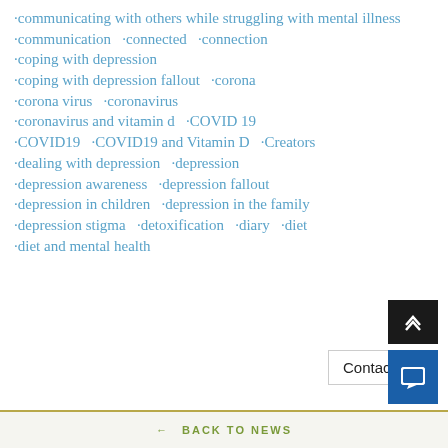·communicating with others while struggling with mental illness
·communication  ·connected  ·connection
·coping with depression
·coping with depression fallout  ·corona
·corona virus  ·coronavirus
·coronavirus and vitamin d  ·COVID 19
·COVID19  ·COVID19 and Vitamin D  ·Creators
·dealing with depression  ·depression
·depression awareness  ·depression fallout
·depression in children  ·depression in the family
·depression stigma  ·detoxification  ·diary  ·diet
·diet and mental health
[Figure (screenshot): Contact button and scroll-to-top/chat buttons in bottom right corner]
← BACK TO NEWS